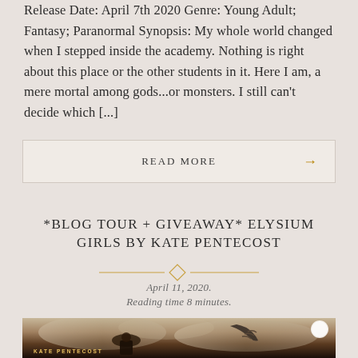Release Date: April 7th 2020 Genre: Young Adult; Fantasy; Paranormal Synopsis: My whole world changed when I stepped inside the academy. Nothing is right about this place or the other students in it. Here I am, a mere mortal among gods...or monsters. I still can't decide which [...]
READ MORE →
*BLOG TOUR + GIVEAWAY* ELYSIUM GIRLS BY KATE PENTECOST
April 11, 2020.
Reading time 8 minutes.
[Figure (photo): Book cover image for Elysium Girls by Kate Pentecost showing a woman in a wide-brimmed hat and a skeletal mechanical hand, with text 'KATE PENTECOST' overlaid at the bottom left]